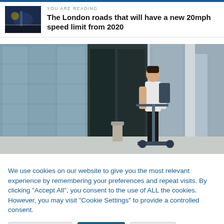YOU ARE READING
The London roads that will have a new 20mph speed limit from 2020
[Figure (photo): Person riding an electric scooter in front of a glass-facade building]
We use cookies on our website to give you the most relevant experience by remembering your preferences and repeat visits. By clicking "Accept All", you consent to the use of ALL the cookies. However, you may visit "Cookie Settings" to provide a controlled consent.
Cookie Settings | Accept All | Reject All